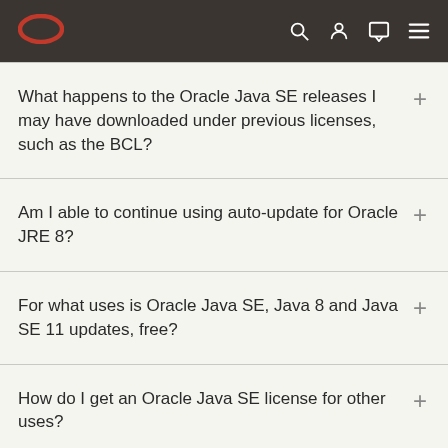Oracle navigation bar with Oracle logo and icons for search, account, chat, and menu
What happens to the Oracle Java SE releases I may have downloaded under previous licenses, such as the BCL?
Am I able to continue using auto-update for Oracle JRE 8?
For what uses is Oracle Java SE, Java 8 and Java SE 11 updates, free?
How do I get an Oracle Java SE license for other uses?